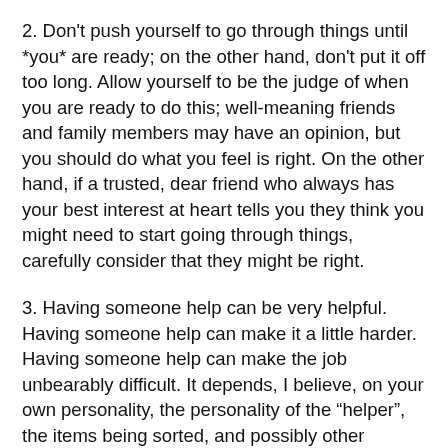2. Don't push yourself to go through things until *you* are ready; on the other hand, don't put it off too long. Allow yourself to be the judge of when you are ready to do this; well-meaning friends and family members may have an opinion, but you should do what you feel is right. On the other hand, if a trusted, dear friend who always has your best interest at heart tells you they think you might need to start going through things, carefully consider that they might be right.
3. Having someone help can be very helpful. Having someone help can make it a little harder. Having someone help can make the job unbearably difficult. It depends, I believe, on your own personality, the personality of the "helper", the items being sorted, and possibly other factors.
4. If you do want help, don't be afraid to ask someone. If you are so inclined, turn it into a "fun" event as much as possible. For example, this past January a coworker shared that she and her husband were moving from their large historic home of 30+ years into a smaller condo. Several of us offered to help, and for a weekend, taking turns available, this it...